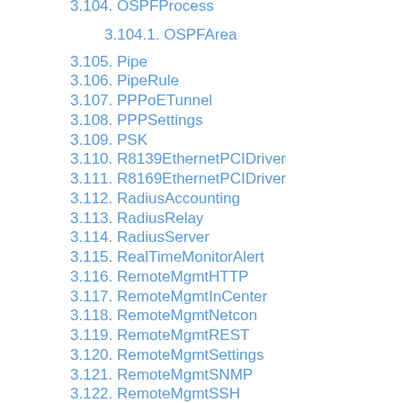3.104. OSPFProcess
3.104.1. OSPFArea
3.105. Pipe
3.106. PipeRule
3.107. PPPoETunnel
3.108. PPPSettings
3.109. PSK
3.110. R8139EthernetPCIDriver
3.111. R8169EthernetPCIDriver
3.112. RadiusAccounting
3.113. RadiusRelay
3.114. RadiusServer
3.115. RealTimeMonitorAlert
3.116. RemoteMgmtHTTP
3.117. RemoteMgmtInCenter
3.118. RemoteMgmtNetcon
3.119. RemoteMgmtREST
3.120. RemoteMgmtSettings
3.121. RemoteMgmtSNMP
3.122. RemoteMgmtSSH